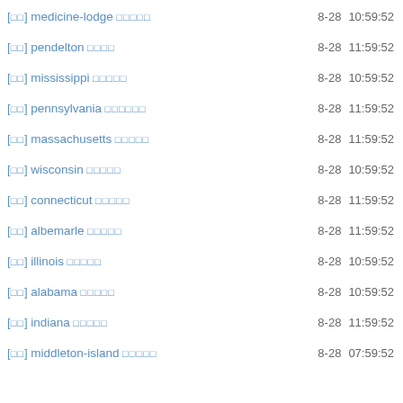[⬜⬜] medicine-lodge ⬜⬜⬜⬜⬜  8-28  10:59:52
[⬜⬜] pendelton ⬜⬜⬜⬜  8-28  11:59:52
[⬜⬜] mississippi ⬜⬜⬜⬜⬜  8-28  10:59:52
[⬜⬜] pennsylvania ⬜⬜⬜⬜⬜⬜  8-28  11:59:52
[⬜⬜] massachusetts ⬜⬜⬜⬜⬜  8-28  11:59:52
[⬜⬜] wisconsin ⬜⬜⬜⬜⬜  8-28  10:59:52
[⬜⬜] connecticut ⬜⬜⬜⬜⬜  8-28  11:59:52
[⬜⬜] albemarle ⬜⬜⬜⬜⬜  8-28  11:59:52
[⬜⬜] illinois ⬜⬜⬜⬜⬜  8-28  10:59:52
[⬜⬜] alabama ⬜⬜⬜⬜⬜  8-28  10:59:52
[⬜⬜] indiana ⬜⬜⬜⬜⬜  8-28  11:59:52
[⬜⬜] middleton-island ⬜⬜⬜⬜⬜  8-28  07:59:52